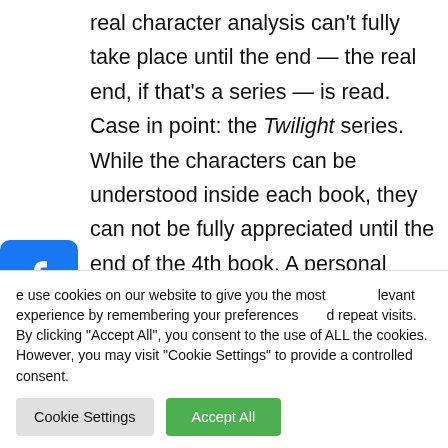real character analysis can't fully take place until the end — the real end, if that's a series — is read. Case in point: the Twilight series. While the characters can be understood inside each book, they can not be fully appreciated until the end of the 4th book. A personal favorite of mine is
[Figure (infographic): Social share buttons: Facebook (blue), Twitter (blue), Email (blue), LinkedIn (blue), Reddit (orange), Share/Plus (blue)]
We use cookies on our website to give you the most relevant experience by remembering your preferences and repeat visits. By clicking "Accept All", you consent to the use of ALL the cookies. However, you may visit "Cookie Settings" to provide a controlled consent.